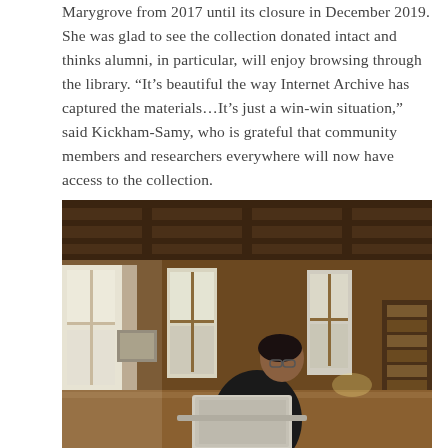Marygrove from 2017 until its closure in December 2019. She was glad to see the collection donated intact and thinks alumni, in particular, will enjoy browsing through the library. “It’s beautiful the way Internet Archive has captured the materials…It’s just a win-win situation,” said Kickham-Samy, who is grateful that community members and researchers everywhere will now have access to the collection.
[Figure (photo): A person sits at a large wooden table in a grand library reading room with dark wood paneling, tall arched windows letting in natural light, exposed wooden beam ceiling, and bookshelves in the background. The person is using a laptop computer and wearing glasses.]